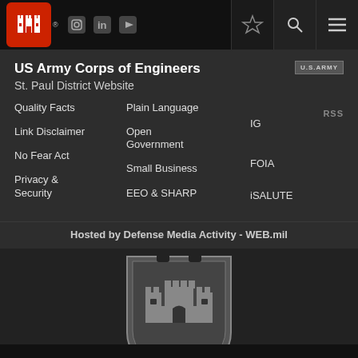[Figure (logo): US Army Corps of Engineers castle logo in red box, social media icons, search and menu icons in top navigation bar]
US Army Corps of Engineers
St. Paul District Website
Quality Facts
Plain Language
RSS
Link Disclaimer
Open Government
IG
No Fear Act
Small Business
FOIA
Privacy & Security
EEO & SHARP
iSALUTE
Hosted by Defense Media Activity - WEB.mil
[Figure (logo): US Army Corps of Engineers shield/crest with castle and ESSAYONS motto ribbon at bottom, gray tones]